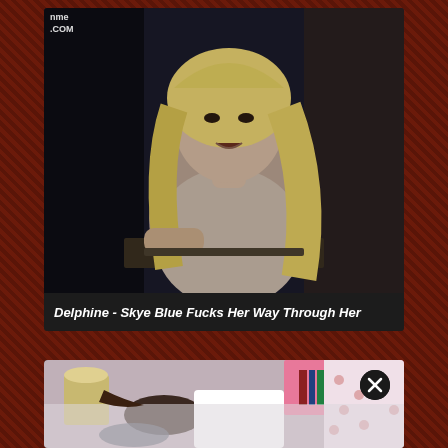[Figure (photo): Screenshot of a blonde woman leaning forward in a dark scene, from a video thumbnail]
Delphine - Skye Blue Fucks Her Way Through Her
[Figure (photo): Screenshot of a bedroom scene with pink shelf and lamp visible, partially obscured]
[Figure (other): Close button (X) overlay on the second thumbnail]